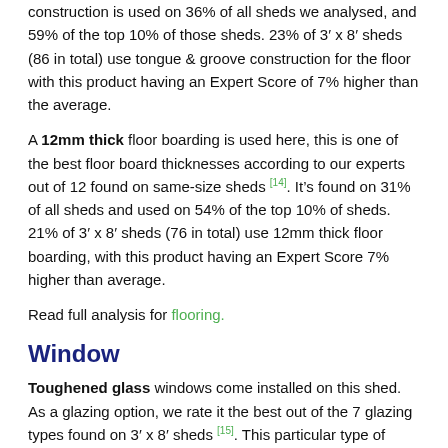construction is used on 36% of all sheds we analysed, and 59% of the top 10% of those sheds. 23% of 3' x 8' sheds (86 in total) use tongue & groove construction for the floor with this product having an Expert Score of 7% higher than the average.
A 12mm thick floor boarding is used here, this is one of the best floor board thicknesses according to our experts out of 12 found on same-size sheds [14]. It's found on 31% of all sheds and used on 54% of the top 10% of sheds. 21% of 3' x 8' sheds (76 in total) use 12mm thick floor boarding, with this product having an Expert Score 7% higher than average.
Read full analysis for flooring.
Window
Toughened glass windows come installed on this shed. As a glazing option, we rate it the best out of the 7 glazing types found on 3' x 8' sheds [15]. This particular type of glazing is used on 12% of all windowed sheds and 58% of the top 10% of sheds with windows we analysed. 8% of 3' x 8' sheds with windows (15 in total) use toughened glass windows, and when taking the average Expert Score of those toughened glass 3' x 8' sheds (96), the Oren